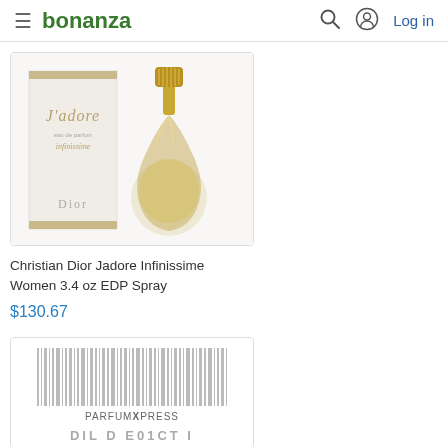bonanza   Log in
[Figure (photo): Christian Dior Jadore Infinissime perfume bottle with box - gold teardrop-shaped bottle with gold cap next to white and gold box]
Christian Dior Jadore Infinissime Women 3.4 oz EDP Spray
$130.67
[Figure (photo): Barcode image with PARFUMXPRESS label below it and partial product code text]